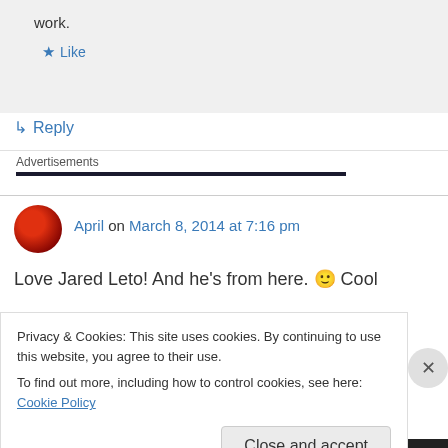work.
★ Like
↳ Reply
Advertisements
April on March 8, 2014 at 7:16 pm
Love Jared Leto! And he's from here. 🙂 Cool
Privacy & Cookies: This site uses cookies. By continuing to use this website, you agree to their use.
To find out more, including how to control cookies, see here: Cookie Policy
Close and accept